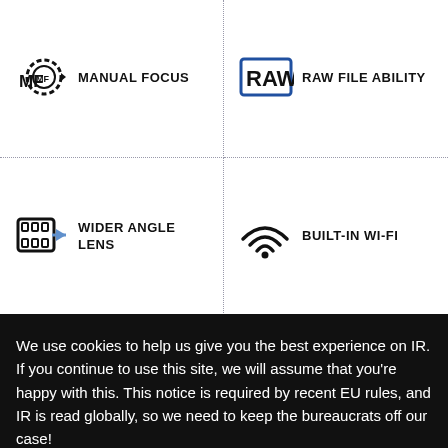[Figure (infographic): Manual Focus icon: MF text with gear/ring around it]
MANUAL FOCUS
[Figure (infographic): RAW text in a bordered box icon]
RAW FILE ABILITY
[Figure (infographic): Wider angle lens icon: film reel with arrow]
WIDER ANGLE LENS
[Figure (infographic): Wi-Fi signal icon]
BUILT-IN WI-FI
We use cookies to help us give you the best experience on IR. If you continue to use this site, we will assume that you're happy with this. This notice is required by recent EU rules, and IR is read globally, so we need to keep the bureaucrats off our case!
Learn more
Got it!